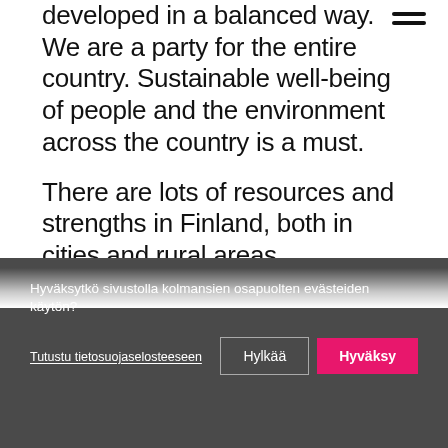developed in a balanced way. We are a party for the entire country. Sustainable well-being of people and the environment across the country is a must.
There are lots of resources and strengths in Finland, both in cities and rural areas. Urbanisation is a global megatrend that can also be seen in Finland. In a country with a low population density,
Hyväksytkö sivustolla kolmansien osapuolten evästeiden käytön?
Tutustu tietosuojaselosteeseen
Hylkää
Hyväksy